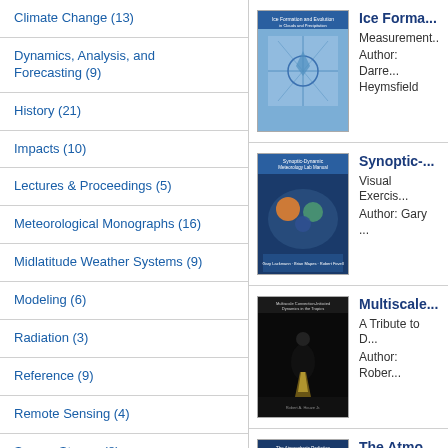Climate Change (13)
Dynamics, Analysis, and Forecasting (9)
History (21)
Impacts (10)
Lectures & Proceedings (5)
Meteorological Monographs (16)
Midlatitude Weather Systems (9)
Modeling (6)
Radiation (3)
Reference (9)
Remote Sensing (4)
Severe Storms (8)
Technology (9)
[Figure (photo): Book cover: Ice Formation and Evolution in Clouds and Precipitation]
Ice Forma...
Measurement...
Author: Darre...
Heymsfield
[Figure (photo): Book cover: Synoptic-Dynamic Meteorology Lab Manual]
Synoptic-...
Visual Exercis...
Author: Gary ...
[Figure (photo): Book cover: Multiscale Convection-Initiated Dynamics in the Tropics]
Multiscale...
A Tribute to D...
Author: Rober...
[Figure (photo): Book cover: The Atmospheric Radiation Measurement Program]
The Atmo...
The First 20 Y...
Author: D. D. ...